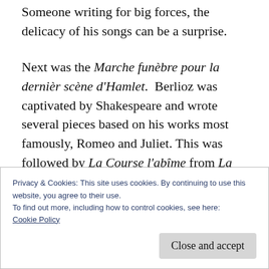Someone writing for big forces, the delicacy of his songs can be a surprise.

Next was the Marche funèbre pour la dernièr scène d'Hamlet. Berlioz was captivated by Shakespeare and wrote several pieces based on his works most famously, Romeo and Juliet. This was followed by La Course l'abîme from La Damnation de Faust a work which failed to appeal when it was first introduced and the negative reaction greatly disappointed the
Privacy & Cookies: This site uses cookies. By continuing to use this website, you agree to their use.
To find out more, including how to control cookies, see here: Cookie Policy